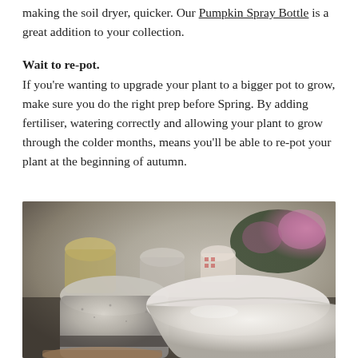making the soil dryer, quicker. Our Pumpkin Spray Bottle is a great addition to your collection.
Wait to re-pot.
If you're wanting to upgrade your plant to a bigger pot to grow, make sure you do the right prep before Spring. By adding fertiliser, watering correctly and allowing your plant to grow through the colder months, means you'll be able to re-pot your plant at the beginning of autumn.
[Figure (photo): Close-up photograph of ceramic plant pots on a table, including a large white glazed pot in the foreground and grey speckled pots, with colourful flowers and other pots visible in the background.]